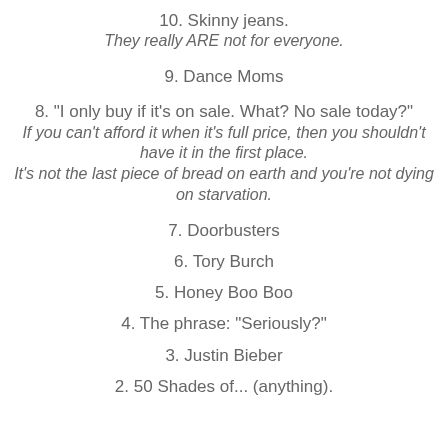10. Skinny jeans.
They really ARE not for everyone.
9. Dance Moms
8. "I only buy if it's on sale. What? No sale today?"
If you can't afford it when it's full price, then you shouldn't have it in the first place.
It's not the last piece of bread on earth and you're not dying on starvation.
7. Doorbusters
6. Tory Burch
5. Honey Boo Boo
4. The phrase: "Seriously?"
3. Justin Bieber
2. 50 Shades of... (anything).